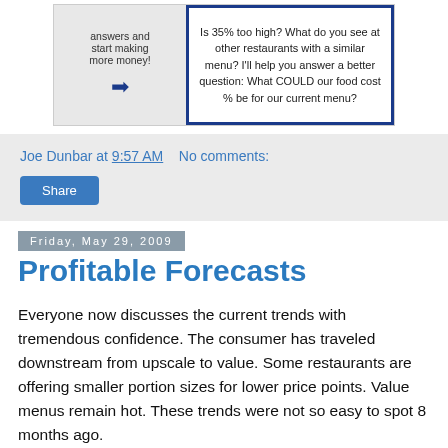[Figure (illustration): Screenshot of a blog or website image showing two panels: left panel with text 'answers and start making more money!' and a blue arrow pointing right; right panel with blue border containing text 'Is 35% too high? What do you see at other restaurants with a similar menu? I'll help you answer a better question: What COULD our food cost % be for our current menu?']
Joe Dunbar at 9:57 AM   No comments:
Share
Friday, May 29, 2009
Profitable Forecasts
Everyone now discusses the current trends with tremendous confidence. The consumer has traveled downstream from upscale to value. Some restaurants are offering smaller portion sizes for lower price points. Value menus remain hot. These trends were not so easy to spot 8 months ago.
I took a walk on King Street in Old Town Alexandria last evening at 7:45 PM. The restaurants farthest from the Potomoc River were slowest. I noted a French restaurant